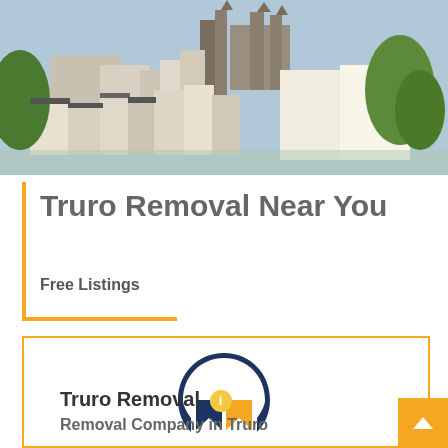[Figure (photo): Aerial/elevated view of Truro city with rooftops, a cathedral in the background, and trees, taken on a sunny day.]
Truro Removal Near You
Free Listings
[Figure (logo): Truro Removal company logo: a dark navy arch/horseshoe shape with a gold/orange bookmark-like shape below it in the center.]
Truro Removal ℹ
Removal Company in Truro